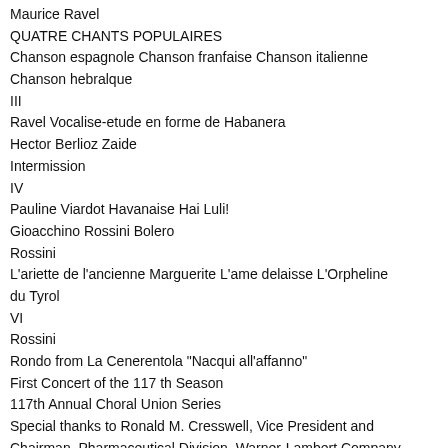Maurice Ravel
QUATRE CHANTS POPULAIRES
Chanson espagnole Chanson franfaise Chanson italienne Chanson hebralque
III
Ravel Vocalise-etude en forme de Habanera
Hector Berlioz Zaide
Intermission
IV
Pauline Viardot Havanaise Hai Luli!
Gioacchino Rossini Bolero
Rossini
L'ariette de l'ancienne Marguerite L'ame delaisse L'Orpheline du Tyrol
VI
Rossini
Rondo from La Cenerentola "Nacqui all'affanno"
First Concert of the 117 th Season
117th Annual Choral Union Series
Special thanks to Ronald M. Cresswell, Vice President and Chairman, Pharmaceutical Division, Warner-Lambert Company for helping to make this performance possible.
Thank you to Richard LeSueur, Director of Technical Services, Ann Arbor Public Library, and Director, Vocal Arts Information